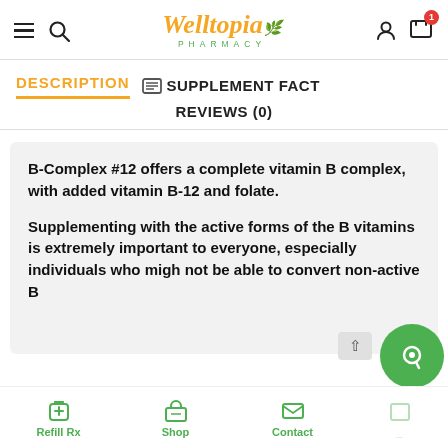Welltopia Pharmacy — navigation header with logo, hamburger menu, search, user icon, cart (1 item)
DESCRIPTION  📋 SUPPLEMENT FACT  REVIEWS (0)
B-Complex #12 offers a complete vitamin B complex, with added vitamin B-12 and folate.

Supplementing with the active forms of the B vitamins is extremely important to everyone, especially individuals who migh not be able to convert non-active B
Refill Rx   Shop   Contact